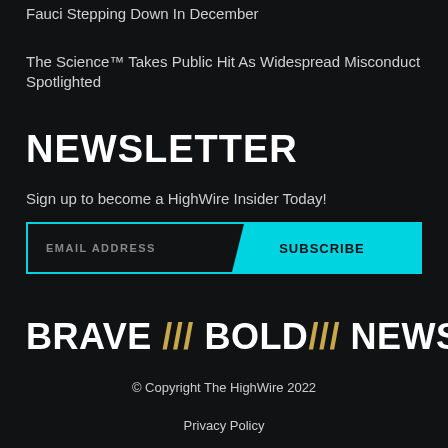Fauci Stepping Down In December
The Science™ Takes Public Hit As Widespread Misconduct Spotlighted
NEWSLETTER
Sign up to become a HighWire Insider Today!
[Figure (infographic): Email subscription bar with cyan border. Left side shows EMAIL ADDRESS placeholder text. Right side has cyan parallelogram button with SUBSCRIBE text.]
[Figure (logo): BRAVE /// BOLD/// NEWS logo in white bold text with gold/yellow slashes]
© Copyright The HighWire 2022
Privacy Policy